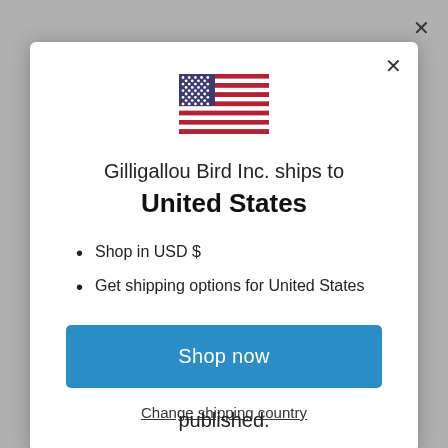[Figure (illustration): US flag emoji/image displayed at top center of modal]
Gilligallou Bird Inc. ships to United States
Shop in USD $
Get shipping options for United States
Shop now
Change shipping country
published.